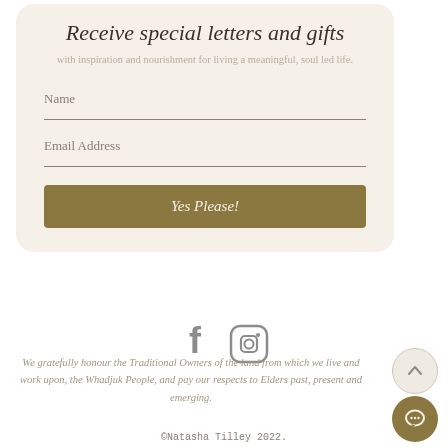Receive special letters and gifts
with inspiration and nourishment for living a meaningful, soul led life.
Name
Email Address
Yes Please!
[Figure (illustration): Facebook and Instagram social media icons in grey]
We gratefully honour the Traditional Owners of the land from which we live and work upon, the Whadjuk People, and pay our respects to Elders past, present and emerging.
©Natasha Tilley 2022.